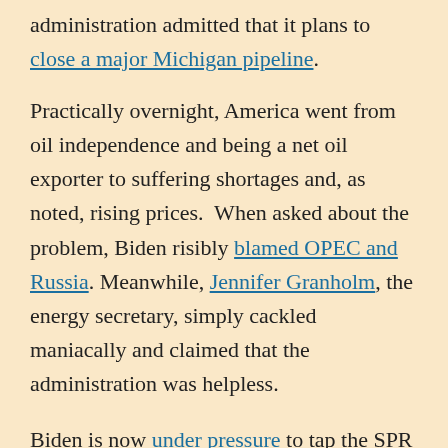administration admitted that it plans to close a major Michigan pipeline.
Practically overnight, America went from oil independence and being a net oil exporter to suffering shortages and, as noted, rising prices.  When asked about the problem, Biden risibly blamed OPEC and Russia. Meanwhile, Jennifer Granholm, the energy secretary, simply cackled maniacally and claimed that the administration was helpless.
Biden is now under pressure to tap the SPR to relieve some of the pressure on fuel prices.  (Again, remember that Biden birthed this problem by squashing American fuel production